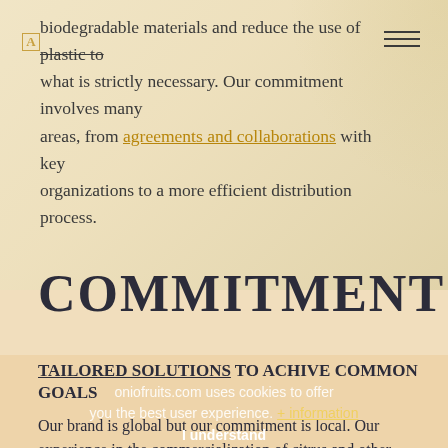biodegradable materials and reduce the use of plastic to what is strictly necessary. Our commitment involves many areas, from agreements and collaborations with key organizations to a more efficient distribution process.
COMMITMENT
TAILORED SOLUTIONS TO ACHIVE COMMON GOALS
Our brand is global but our commitment is local. Our experience in the commercialization of citrus and other fruits is international and we constantly adapt the